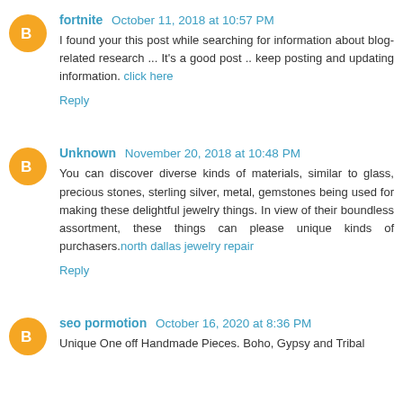fortnite  October 11, 2018 at 10:57 PM
I found your this post while searching for information about blog-related research ... It's a good post .. keep posting and updating information. click here
Reply
Unknown  November 20, 2018 at 10:48 PM
You can discover diverse kinds of materials, similar to glass, precious stones, sterling silver, metal, gemstones being used for making these delightful jewelry things. In view of their boundless assortment, these things can please unique kinds of purchasers.north dallas jewelry repair
Reply
seo pormotion  October 16, 2020 at 8:36 PM
Unique One off Handmade Pieces. Boho, Gypsy and Tribal